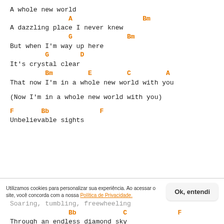A whole new world
A                  Bm
A dazzling place I never knew
G              Bm
But when I'm way up here
G        D
It's crystal clear
Bm         E         C         A                              D
That now I'm in a whole new world with you
(Now I'm in a whole new world with you)
F       Bb             F
Unbelievable sights
Soaring, tumbling, freewheeling
Bb            C             F
Through an endless diamond sky
Utilizamos cookies para personalizar sua experiência. Ao acessar o site, você concorda com a nossa Política de Privacidade.
Ok, entendi